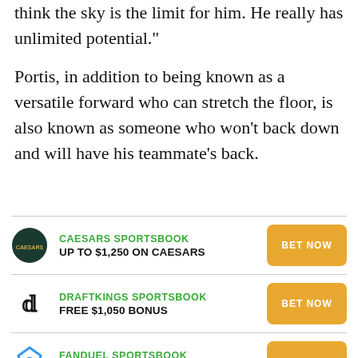think the sky is the limit for him. He really has unlimited potential."
Portis, in addition to being known as a versatile forward who can stretch the floor, is also known as someone who won't back down and will have his teammate's back.
CAESARS SPORTSBOOK
UP TO $1,250 ON CAESARS
BET NOW
DRAFTKINGS SPORTSBOOK
FREE $1,050 BONUS
BET NOW
FANDUEL SPORTSBOOK
FREE $1,000 BET
BET NOW
BETMGM SPORTSBOOK
BET NOW